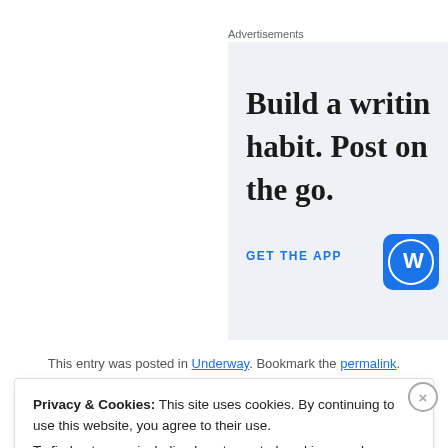Advertisements
[Figure (illustration): WordPress app advertisement banner with text 'Build a writing habit. Post on the go.' and 'GET THE APP' CTA with WordPress logo]
This entry was posted in Underway. Bookmark the permalink.
Privacy & Cookies: This site uses cookies. By continuing to use this website, you agree to their use.
To find out more, including how to control cookies, see here: Cookie Policy
Close and accept